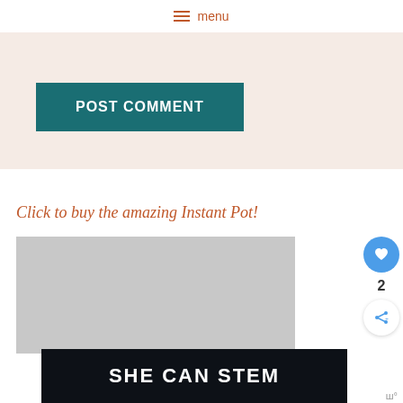≡ menu
[Figure (screenshot): POST COMMENT button on a light pink/beige background section]
Click to buy the amazing Instant Pot!
[Figure (photo): Grey placeholder product image]
[Figure (screenshot): Social sidebar with heart button showing count 2 and share button]
[Figure (screenshot): SHE CAN STEM dark banner with bold white text]